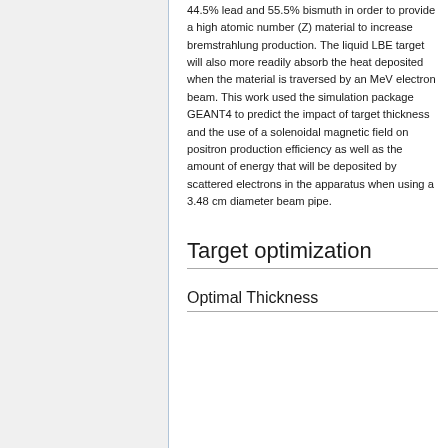44.5% lead and 55.5% bismuth in order to provide a high atomic number (Z) material to increase bremstrahlung production. The liquid LBE target will also more readily absorb the heat deposited when the material is traversed by an MeV electron beam. This work used the simulation package GEANT4 to predict the impact of target thickness and the use of a solenoidal magnetic field on positron production efficiency as well as the amount of energy that will be deposited by scattered electrons in the apparatus when using a 3.48 cm diameter beam pipe.
Target optimization
Optimal Thickness